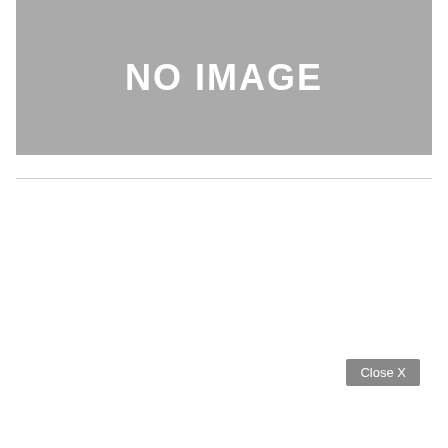[Figure (other): Gray placeholder box with 'NO IMAGE' text in white]
Close X